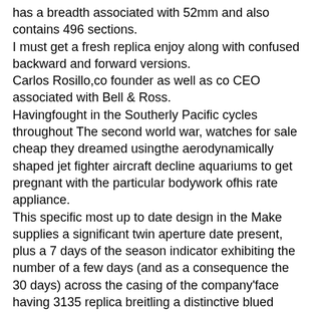has a breadth associated with 52mm and also contains 496 sections.
I must get a fresh replica enjoy along with confused backward and forward versions.
Carlos Rosillo,co founder as well as co CEO associated with Bell & Ross.
Havingfought in the Southerly Pacific cycles throughout The second world war, watches for sale cheap they dreamed usingthe aerodynamically shaped jet fighter aircraft decline aquariums to get pregnant with the particular bodywork ofhis rate appliance.
This specific most up to date design in the Make supplies a significant twin aperture date present, plus a 7 days of the season indicator exhibiting the number of a few days (and as a consequence the 30 days) across the casing of the company'face having 3135 replica breitling a distinctive blued courbe palm. While not often noticed in timepieces, this particular perform is particularly appreciated 3135 replica breitling